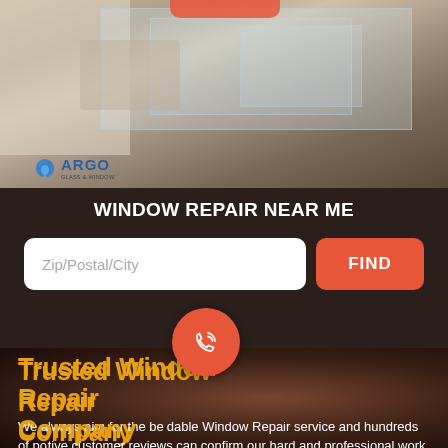[Figure (photo): Worker installing or repairing a window frame with glass panels, wearing a white shirt with 'ARGO' logo visible. ARGO Glass logo shown at bottom left of photo.]
WINDOW REPAIR NEAR ME
Zip/Postal/City
FIND
Trusted Window Repair Company
We always aim for the best affordable Window Repair service and hundreds of positive customer reviews can confirm our hard and professional work.